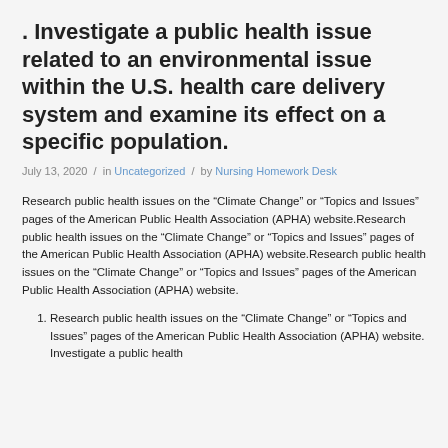. Investigate a public health issue related to an environmental issue within the U.S. health care delivery system and examine its effect on a specific population.
July 13, 2020  /  in Uncategorized  /  by Nursing Homework Desk
Research public health issues on the “Climate Change” or “Topics and Issues” pages of the American Public Health Association (APHA) website.Research public health issues on the “Climate Change” or “Topics and Issues” pages of the American Public Health Association (APHA) website.Research public health issues on the “Climate Change” or “Topics and Issues” pages of the American Public Health Association (APHA) website.
Research public health issues on the “Climate Change” or “Topics and Issues” pages of the American Public Health Association (APHA) website. Investigate a public health